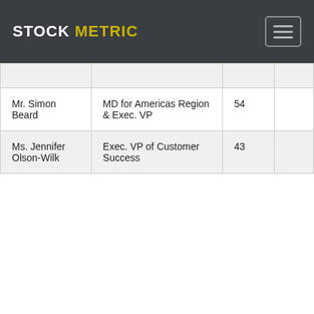STOCK METRIC
|  |  |  |  |
| --- | --- | --- | --- |
|  |  |  |  |
| Mr. Simon Beard | MD for Americas Region & Exec. VP | 54 |  |
| Ms. Jennifer Olson-Wilk | Exec. VP of Customer Success | 43 |  |